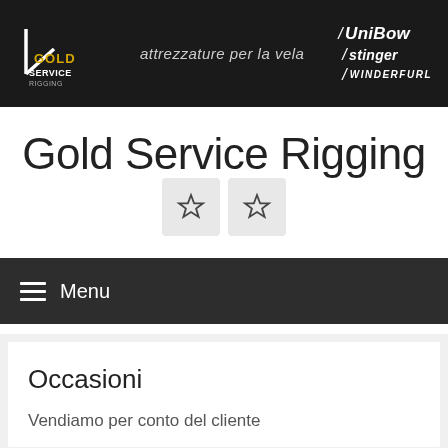[Figure (logo): Gold Service Rigging banner with logo, tagline 'attrezzature per la vela', and brand logos UniBow, Stinger, Winderfurl on dark background]
Gold Service Rigging
[Figure (other): Two star/bookmark icon buttons with light grey background]
Menu
Occasioni
Vendiamo per conto del cliente